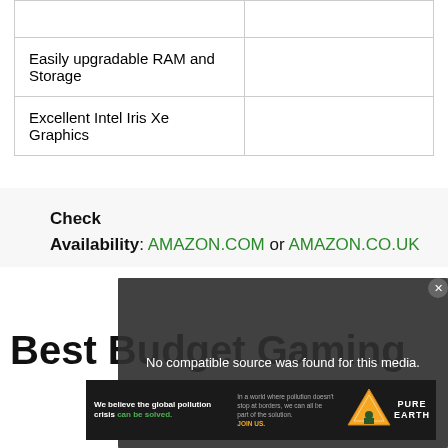| Easily upgradable RAM and Storage |  |
| Excellent Intel Iris Xe Graphics |  |
Check Availability: AMAZON.COM or AMAZON.CO.UK
Best Budget Gaming
[Figure (other): Video overlay saying 'No compatible source was found for this media' with close button, overlaid on background photo]
[Figure (other): Pure Earth advertisement banner: 'We believe the global pollution crisis can be solved.' with JOIN US. call to action and Pure Earth logo]